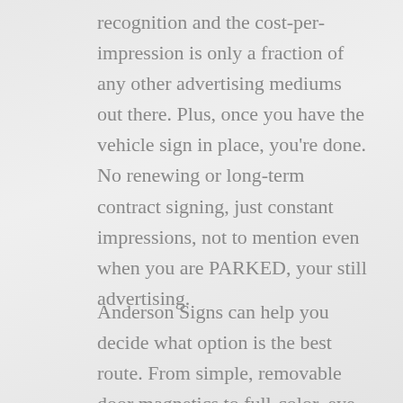recognition and the cost-per-impression is only a fraction of any other advertising mediums out there. Plus, once you have the vehicle sign in place, you're done. No renewing or long-term contract signing, just constant impressions, not to mention even when you are PARKED, your still advertising.
Anderson Signs can help you decide what option is the best route. From simple, removable door magnetics to full-color, eye-popping car and truck wraps, you are only limited by your imagination! Call us today